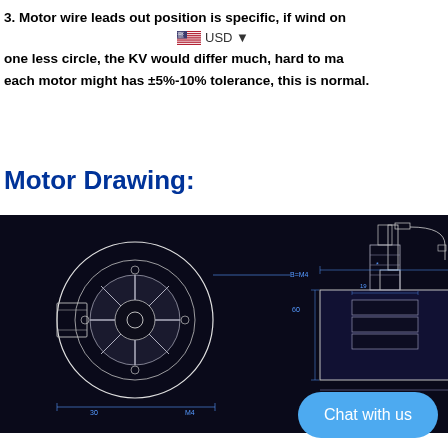3. Motor wire leads out position is specific, if wind one more circle or one less circle, the KV would differ much, hard to match, each motor might has ±5%-10% tolerance, this is normal.
Motor Drawing:
[Figure (engineering-diagram): Technical drawing of a brushless motor (Hall sensored motor MT06374, MT06365, MT06355) shown in three views: front circular view, side cross-section with dimensions (26±0.5, 69±0.3, 74mm, etc.), and rear circular view. Drawing on black background with blue dimension lines.]
Chat with us